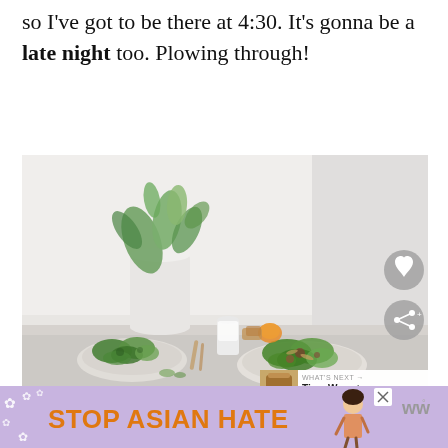so I've got to be there at 4:30. It's gonna be a late night too. Plowing through!
[Figure (photo): A styled food photo showing a white table with two plates of green salad, a vase with green leafy branches, a small glass of milk, and other food items. Background is bright white. There is a heart icon button and a share icon button overlaid on the right side. A 'WHAT'S NEXT' panel with a thumbnail of oatmeal toast and text 'Time Warp + Oatmeal' appears in the bottom right corner.]
[Figure (infographic): An advertisement banner with purple/lavender background showing white flower decorations, the text 'STOP ASIAN HATE' in large orange bold letters, and an illustrated figure of a woman. A close (X) button appears at the top right of the banner. A WW logo appears to the right.]